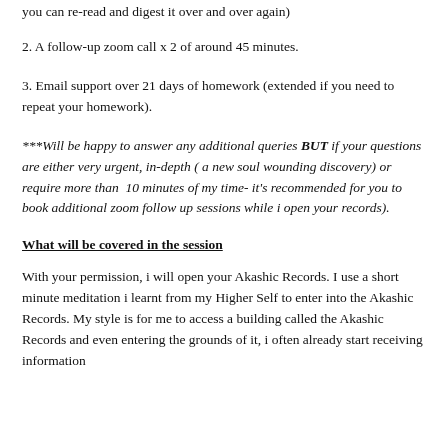you can re-read and digest it over and over again)
2. A follow-up zoom call x 2 of around 45 minutes.
3. Email support over 21 days of homework (extended if you need to repeat your homework).
***Will be happy to answer any additional queries BUT if your questions are either very urgent, in-depth ( a new soul wounding discovery) or require more than 10 minutes of my time- it's recommended for you to book additional zoom follow up sessions while i open your records).
What will be covered in the session
With your permission, i will open your Akashic Records. I use a short minute meditation i learnt from my Higher Self to enter into the Akashic Records. My style is for me to access a building called the Akashic Records and even entering the grounds of it, i often already start receiving information